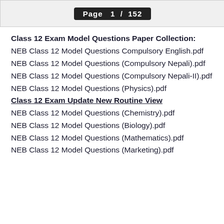[Figure (screenshot): Top bar showing page navigation with 'Page 1 / 152' text on dark background]
Class 12 Exam Model Questions Paper Collection:
NEB Class 12 Model Questions Compulsory English.pdf
NEB Class 12 Model Questions (Compulsory Nepali).pdf
NEB Class 12 Model Questions (Compulsory Nepali-II).pdf
NEB Class 12 Model Questions (Physics).pdf
Class 12 Exam Update New Routine View
NEB Class 12 Model Questions (Chemistry).pdf
NEB Class 12 Model Questions (Biology).pdf
NEB Class 12 Model Questions (Mathematics).pdf
NEB Class 12 Model Questions (Marketing).pdf